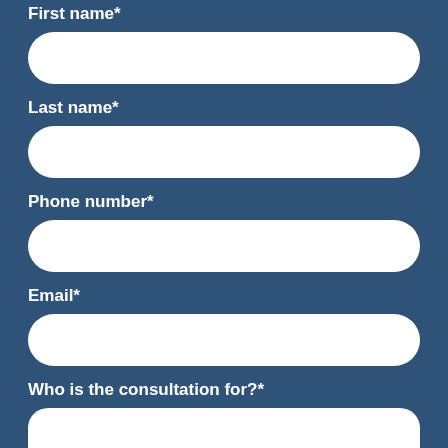First name*
Last name*
Phone number*
Email*
Who is the consultation for?*